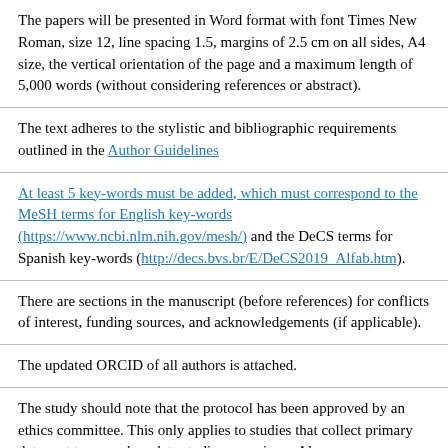The papers will be presented in Word format with font Times New Roman, size 12, line spacing 1.5, margins of 2.5 cm on all sides, A4 size, the vertical orientation of the page and a maximum length of 5,000 words (without considering references or abstract).
The text adheres to the stylistic and bibliographic requirements outlined in the Author Guidelines
At least 5 key-words must be added, which must correspond to the MeSH terms for English key-words (https://www.ncbi.nlm.nih.gov/mesh/) and the DeCS terms for Spanish key-words (http://decs.bvs.br/E/DeCS2019_Alfab.htm).
There are sections in the manuscript (before references) for conflicts of interest, funding sources, and acknowledgements (if applicable).
The updated ORCID of all authors is attached.
The study should note that the protocol has been approved by an ethics committee. This only applies to studies that collect primary data, not to secondary data studies or reviews. Also...